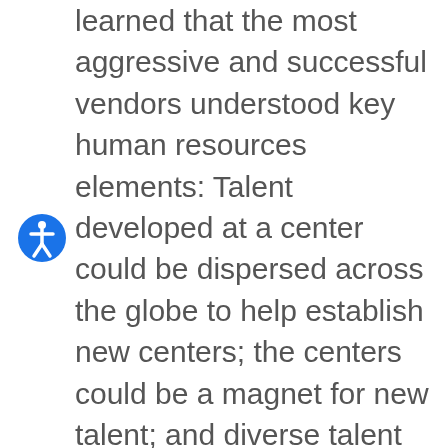learned that the most aggressive and successful vendors understood key human resources elements: Talent developed at a center could be dispersed across the globe to help establish new centers; the centers could be a magnet for new talent; and diverse talent on-site as a dedicated part of the center appealed to clients more than flying talent in for each engagement. In addition, the earliest successful centers featured a physical location separate from the rest of the company's facilities to reinforce the idea as new and different while also encouraging clients to think more broadly about the vendor's capabilities and offerings, getting clients out of their own offices into a more creative space, and